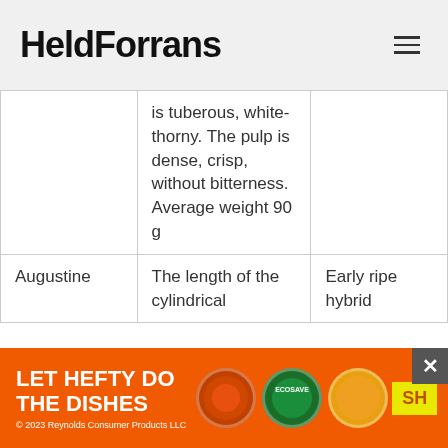HeldForrans
| Name | Description | Type |
| --- | --- | --- |
|  | is tuberous, white-thorny. The pulp is dense, crisp, without bitterness. Average weight 90 g |  |
| Augustine | The length of the cylindrical ... | Early ripe hybrid |